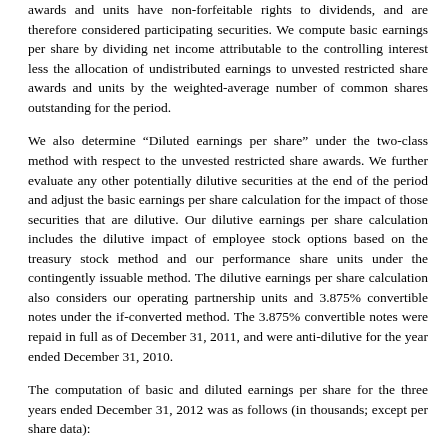awards and units have non-forfeitable rights to dividends, and are therefore considered participating securities. We compute basic earnings per share by dividing net income attributable to the controlling interest less the allocation of undistributed earnings to unvested restricted share awards and units by the weighted-average number of common shares outstanding for the period.
We also determine “Diluted earnings per share” under the two-class method with respect to the unvested restricted share awards. We further evaluate any other potentially dilutive securities at the end of the period and adjust the basic earnings per share calculation for the impact of those securities that are dilutive. Our dilutive earnings per share calculation includes the dilutive impact of employee stock options based on the treasury stock method and our performance share units under the contingently issuable method. The dilutive earnings per share calculation also considers our operating partnership units and 3.875% convertible notes under the if-converted method. The 3.875% convertible notes were repaid in full as of December 31, 2011, and were anti-dilutive for the year ended December 31, 2010.
The computation of basic and diluted earnings per share for the three years ended December 31, 2012 was as follows (in thousands; except per share data):